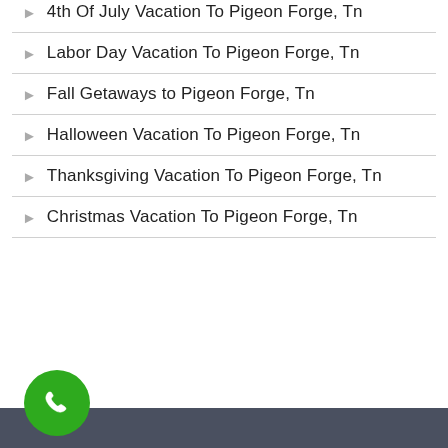4th Of July Vacation To Pigeon Forge, Tn
Labor Day Vacation To Pigeon Forge, Tn
Fall Getaways to Pigeon Forge, Tn
Halloween Vacation To Pigeon Forge, Tn
Thanksgiving Vacation To Pigeon Forge, Tn
Christmas Vacation To Pigeon Forge, Tn
[Figure (other): Green circular phone call button icon in bottom left corner, overlapping a dark gray footer bar]